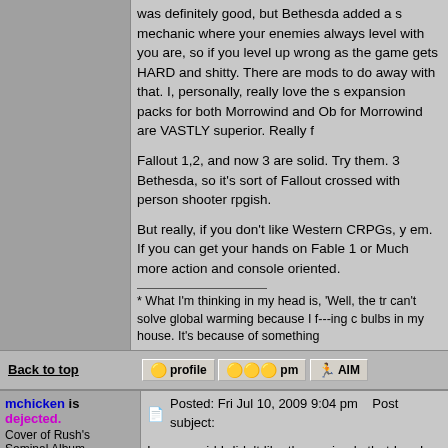was definitely good, but Bethesda added a mechanic where your enemies always level with you are, so if you level up wrong as the game gets HARD and shitty. There are mods to do away with that. I, personally, really love the s expansion packs for both Morrowind and Ob for Morrowind are VASTLY superior. Really f

Fallout 1,2, and now 3 are solid. Try them. 3 Bethesda, so it's sort of Fallout crossed with person shooter rpgish.

But really, if you don't like Western CRPGs, y em. If you can get your hands on Fable 1 or Much more action and console oriented.
* What I'm thinking in my head is, 'Well, the tr can't solve global warming because I f---ing c bulbs in my house. It's because of something
Back to top
profile   pm   AIM
mchicken is dejected.
Cover of Rush's Seminal Album
[Figure (illustration): Rush album cover showing the band name RUSH in red letters on dark background with a stone building with arches below]
Posted: Fri Jul 10, 2009 9:04 pm   Post subject:
I never said I didn't like them, simply that I ne I played a ton of console as a kid, and I had a computer games I had access to that were g Ambrosia stuff (Escape Velocity for life!) and